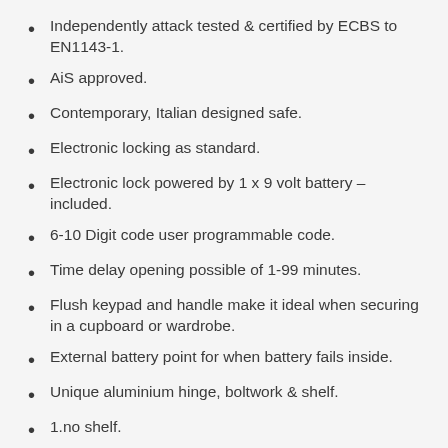Independently attack tested & certified by ECBS to EN1143-1.
AiS approved.
Contemporary, Italian designed safe.
Electronic locking as standard.
Electronic lock powered by 1 x 9 volt battery – included.
6-10 Digit code user programmable code.
Time delay opening possible of 1-99 minutes.
Flush keypad and handle make it ideal when securing in a cupboard or wardrobe.
External battery point for when battery fails inside.
Unique aluminium hinge, boltwork & shelf.
1.no shelf.
Optional Jewellery Drawer Module.
Optional Watch Winder Module.